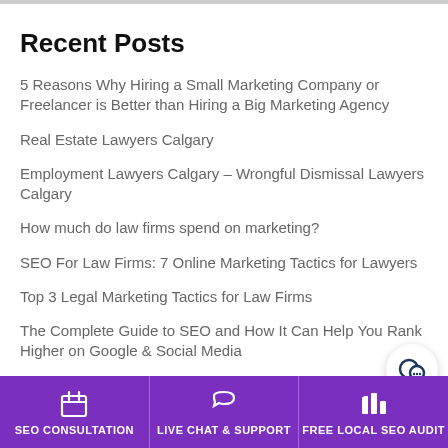Recent Posts
5 Reasons Why Hiring a Small Marketing Company or Freelancer is Better than Hiring a Big Marketing Agency
Real Estate Lawyers Calgary
Employment Lawyers Calgary – Wrongful Dismissal Lawyers Calgary
How much do law firms spend on marketing?
SEO For Law Firms: 7 Online Marketing Tactics for Lawyers
Top 3 Legal Marketing Tactics for Law Firms
The Complete Guide to SEO and How It Can Help You Rank Higher on Google & Social Media
Keys to Success for Business Owners
SEO CONSULTATION | LIVE CHAT & SUPPORT | FREE LOCAL SEO AUDIT